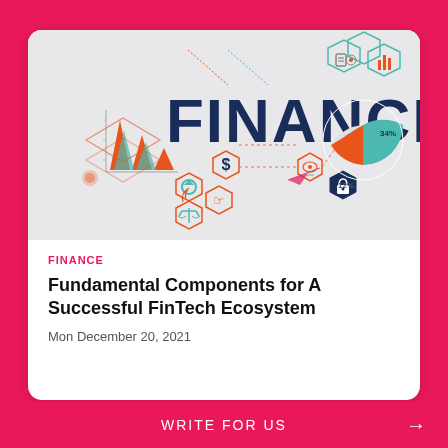[Figure (illustration): Finance infographic illustration showing the word FINANCE in large dark blue letters, surrounded by financial icons: bar charts, hexagons with symbols (dollar sign, refresh arrows, hand pointer, scales of justice, lock/security, eye/dollar bill), a pie chart with 34% and 12% slices in orange and teal, and geometric arrow shapes. Light gray background.]
FINANCE
Fundamental Components for A Successful FinTech Ecosystem
Mon December 20, 2021
WRITE FOR US →